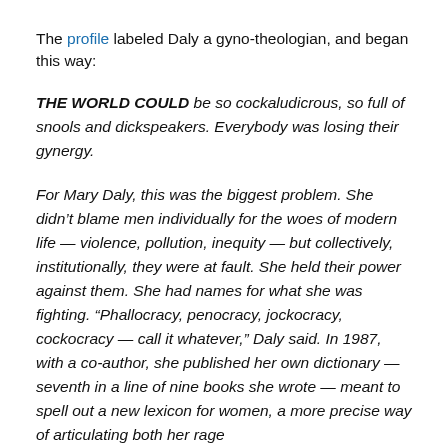The profile labeled Daly a gyno-theologian, and began this way:
THE WORLD COULD be so cockaludicrous, so full of snools and dickspeakers. Everybody was losing their gynergy.
For Mary Daly, this was the biggest problem. She didn’t blame men individually for the woes of modern life — violence, pollution, inequity — but collectively, institutionally, they were at fault. She held their power against them. She had names for what she was fighting. “Phallocracy, penocracy, jockocracy, cockocracy — call it whatever,” Daly said. In 1987, with a co-author, she published her own dictionary — seventh in a line of nine books she wrote — meant to spell out a new lexicon for women, a more precise way of articulating both her rage